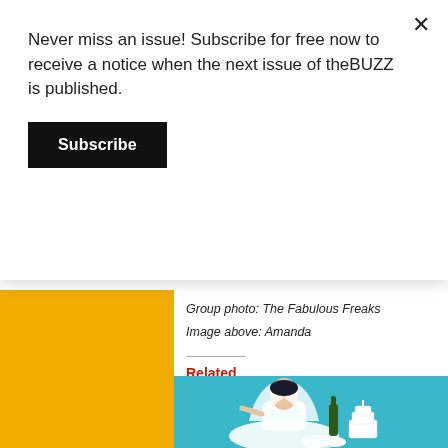Never miss an issue! Subscribe for free now to receive a notice when the next issue of theBUZZ is published.
Subscribe
Group photo: The Fabulous Freaks
Image above: Amanda
Related
[Figure (photo): Person dressed as a bride in a white dress and veil, sitting on a blue background with a champagne bottle and wedding cake]